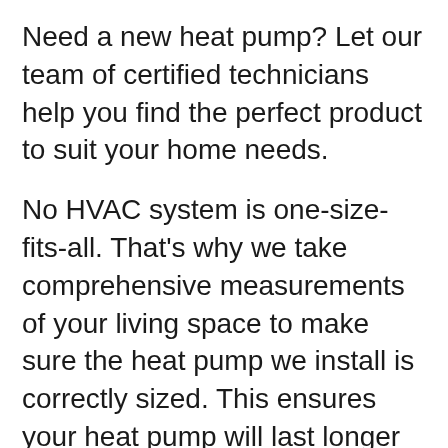Need a new heat pump? Let our team of certified technicians help you find the perfect product to suit your home needs.
No HVAC system is one-size-fits-all. That's why we take comprehensive measurements of your living space to make sure the heat pump we install is correctly sized. This ensures your heat pump will last longer and perform at peak efficiency.
Our experts bring years of experience and a friendly demeanor to every service call. We'll always provide you with an upfront estimate and warranty on all of our work. For all of us